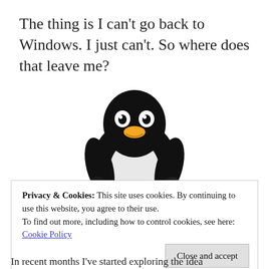The thing is I can't go back to Windows. I just can't. So where does that leave me?
[Figure (illustration): Tux the Linux penguin mascot — a black and white penguin with an orange beak and feet, sitting upright, facing forward against a white background.]
Privacy & Cookies: This site uses cookies. By continuing to use this website, you agree to their use.
To find out more, including how to control cookies, see here: Cookie Policy
Close and accept
In recent months I've started exploring the idea